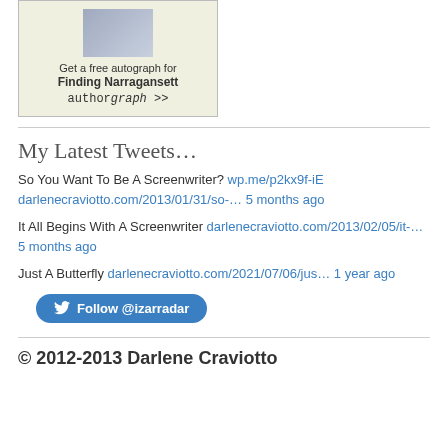[Figure (other): Authorgraph widget box with book cover image for 'Finding Narragansett', text 'Get a free autograph for Finding Narragansett authorgraph >>']
My Latest Tweets…
So You Want To Be A Screenwriter? wp.me/p2kx9f-iE darlenecraviotto.com/2013/01/31/so-… 5 months ago
It All Begins With A Screenwriter darlenecraviotto.com/2013/02/05/it-… 5 months ago
Just A Butterfly darlenecraviotto.com/2021/07/06/jus… 1 year ago
Follow @izarradar
© 2012-2013 Darlene Craviotto